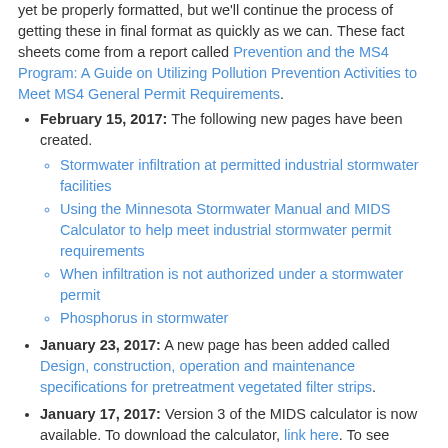yet be properly formatted, but we'll continue the process of getting these in final format as quickly as we can. These fact sheets come from a report called Prevention and the MS4 Program: A Guide on Utilizing Pollution Prevention Activities to Meet MS4 General Permit Requirements.
February 15, 2017: The following new pages have been created.
Stormwater infiltration at permitted industrial stormwater facilities
Using the Minnesota Stormwater Manual and MIDS Calculator to help meet industrial stormwater permit requirements
When infiltration is not authorized under a stormwater permit
Phosphorus in stormwater
January 23, 2017: A new page has been added called Design, construction, operation and maintenance specifications for pretreatment vegetated filter strips.
January 17, 2017: Version 3 of the MIDS calculator is now available. To download the calculator, link here. To see changes from Version 2, link here. These pages provide information on requirements, recommendations and information for using specific BMPs in the MIDS calculator.